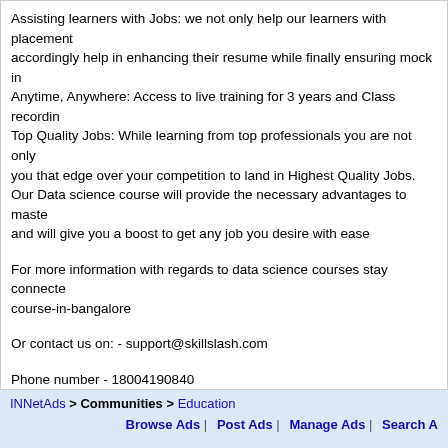Assisting learners with Jobs: we not only help our learners with placement accordingly help in enhancing their resume while finally ensuring mock interviews. Anytime, Anywhere: Access to live training for 3 years and Class recordings. Top Quality Jobs: While learning from top professionals you are not only giving you that edge over your competition to land in Highest Quality Jobs. Our Data science course will provide the necessary advantages to master the field and will give you a boost to get any job you desire with ease
For more information with regards to data science courses stay connected course-in-bangalore
Or contact us on: - support@skillslash.com
Phone number - 18004190840
Related Link: Click here to visit it
| Target State: Karnataka |
| Target City : Bangalore |
| Last Update : 28 March 2022 3:50 PM |
| Number of Views: 27 |
Friendly reminder: Avoid scams and fraud o...
INNetAds > Communities > Education | Browse Ads | Post Ads | Manage Ads | Search A...